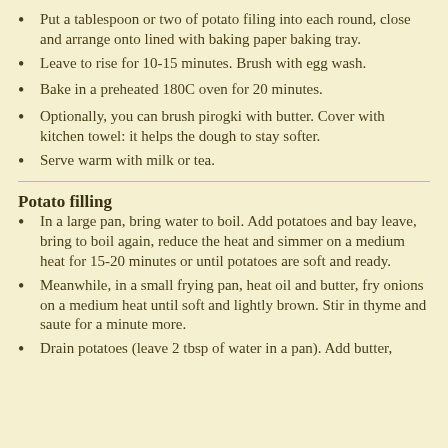Put a tablespoon or two of potato filing into each round, close and arrange onto lined with baking paper baking tray.
Leave to rise for 10-15 minutes. Brush with egg wash.
Bake in a preheated 180C oven for 20 minutes.
Optionally, you can brush pirogki with butter. Cover with kitchen towel: it helps the dough to stay softer.
Serve warm with milk or tea.
Potato filling
In a large pan, bring water to boil. Add potatoes and bay leave, bring to boil again, reduce the heat and simmer on a medium heat for 15-20 minutes or until potatoes are soft and ready.
Meanwhile, in a small frying pan, heat oil and butter, fry onions on a medium heat until soft and lightly brown. Stir in thyme and saute for a minute more.
Drain potatoes (leave 2 tbsp of water in a pan). Add butter,